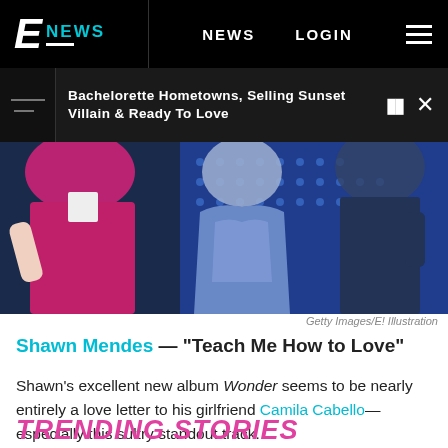E! NEWS  NEWS  LOGIN
Bachelorette Hometowns, Selling Sunset Villain & Ready To Love
[Figure (photo): Partial view of performers/people on stage, colorful outfits including magenta/pink and blue metallic dress, blurred background with blue spotlights]
Getty Images/E! Illustration
Shawn Mendes — "Teach Me How to Love"
Shawn's excellent new album Wonder seems to be nearly entirely a love letter to his girlfriend Camila Cabello—especially this sultry standout track.
TRENDING STORIES